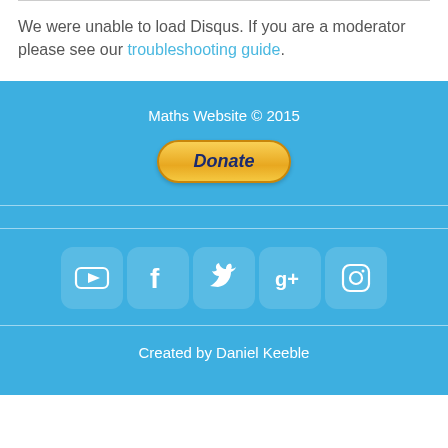We were unable to load Disqus. If you are a moderator please see our troubleshooting guide.
Maths Website © 2015
[Figure (other): PayPal Donate button]
[Figure (other): Social media icons: YouTube, Facebook, Twitter, Google+, Instagram]
Created by Daniel Keeble